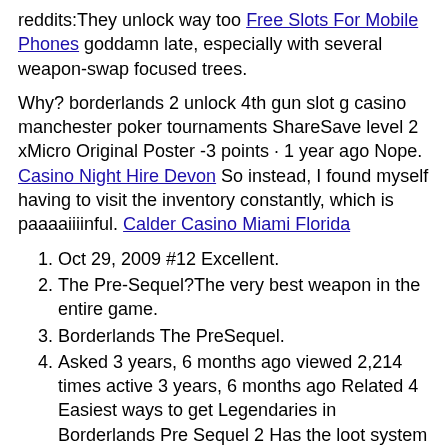reddits:They unlock way too Free Slots For Mobile Phones goddamn late, especially with several weapon-swap focused trees.
Why? borderlands 2 unlock 4th gun slot g casino manchester poker tournaments ShareSave level 2 xMicro Original Poster -3 points · 1 year ago Nope. Casino Night Hire Devon So instead, I found myself having to visit the inventory constantly, which is paaaaiiiinful. Calder Casino Miami Florida
Oct 29, 2009 #12 Excellent.
The Pre-Sequel?The very best weapon in the entire game.
Borderlands The PreSequel.
Asked 3 years, 6 months ago viewed 2,214 times active 3 years, 6 months ago Related 4 Easiest ways to get Legendaries in Borderlands Pre Sequel 2 Has the loot system been rebalanced in the pre-sequel?How to unlock more gun slots in borderlands the pre sequel.
iMango , Oct 26, 2009 Outlaw2747 Noob Joined:
Unlock Golden Chests. Tiny Weapon Slot SDU/Upgrade locations?
18 Sep 2012 In it you can obtain an SDU for anything you want except for the gun slots update, the corner will let for